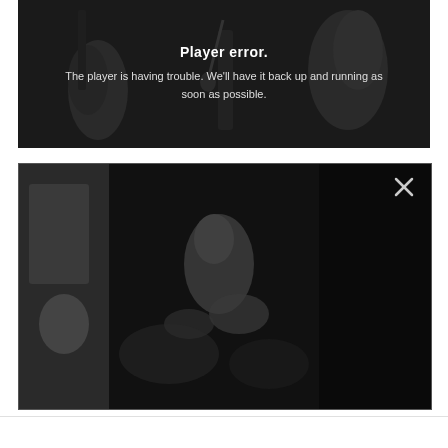[Figure (screenshot): Video player error screen showing a dark grayscale image of musicians performing. Text overlay reads 'Player error.' in bold and 'The player is having trouble. We'll have it back up and running as soon as possible.' in white text centered on the player.]
[Figure (photo): Dark grayscale photo of a blurry concert/performance scene with a figure visible in the center and a close (X) button in the upper right corner.]